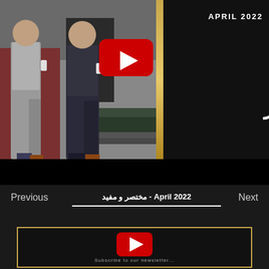[Figure (screenshot): YouTube video thumbnail showing two men walking in an urban setting, with a YouTube play button in the center. Right side has dark background with Arabic text 'مختصر و مفيد' and 'APRIL 2022' label. Gold vertical stripe divides photo from dark panel.]
Previous
April 2022 - مختصر و مفيد
Next
[Figure (screenshot): Second YouTube video thumbnail with gold border, showing YouTube play button centered on dark background with partial text visible at bottom.]